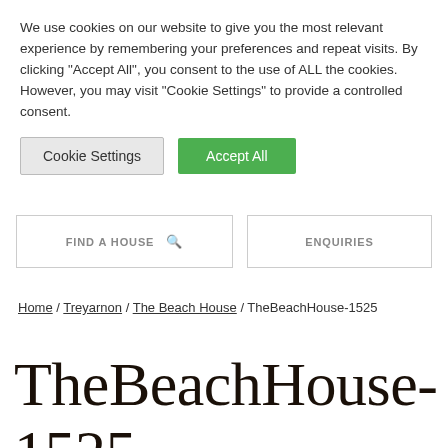We use cookies on our website to give you the most relevant experience by remembering your preferences and repeat visits. By clicking “Accept All”, you consent to the use of ALL the cookies. However, you may visit "Cookie Settings" to provide a controlled consent.
Cookie Settings | Accept All
FIND A HOUSE 🔍   ENQUIRIES
Home / Treyarnon / The Beach House / TheBeachHouse-1525
TheBeachHouse-1525